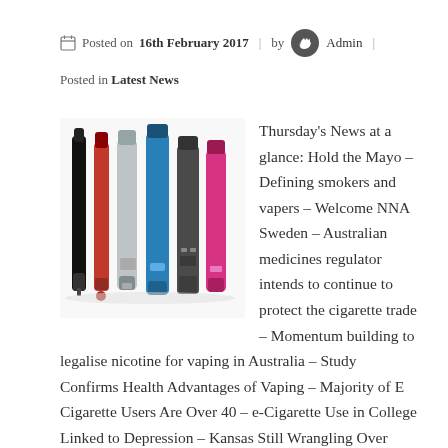Posted on 16th February 2017 | by Admin |
Posted in Latest News
[Figure (photo): A collection of e-cigarette vaping devices including pen-style and box-mod styles in various colors including black, red, silver, blue, grey, and pink, standing upright on a white background.]
Thursday's News at a glance: Hold the Mayo – Defining smokers and vapers – Welcome NNA Sweden – Australian medicines regulator intends to continue to protect the cigarette trade – Momentum building to legalise nicotine for vaping in Australia – Study Confirms Health Advantages of Vaping – Majority of E Cigarette Users Are Over 40 – e-Cigarette Use in College Linked to Depression – Kansas Still Wrangling Over How To Tax E-Cigs – Nicotine Science and Policy Daily Digest – Thursday,16 February 2017